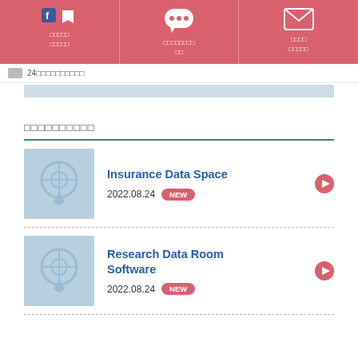Navigation bar with icons and Japanese labels
24xxxxxxxxxxxxxxx
xxxxxxxxxx
Insurance Data Space
2022.08.24 NEW
Research Data Room Software
2022.08.24 NEW